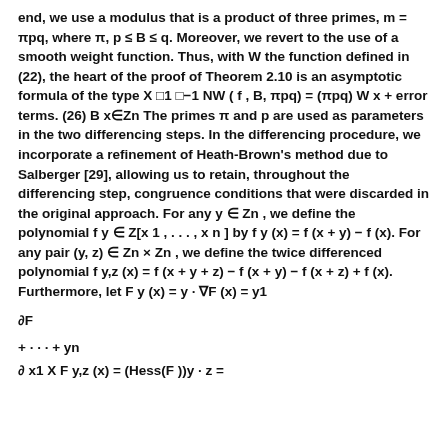end, we use a modulus that is a product of three primes, m = πpq, where π, p ≤ B ≤ q. Moreover, we revert to the use of a smooth weight function. Thus, with W the function defined in (22), the heart of the proof of Theorem 2.10 is an asymptotic formula of the type X □1 □−1 NW ( f , B, πpq) = (πpq) W x + error terms. (26) B x∈Zn The primes π and p are used as parameters in the two differencing steps. In the differencing procedure, we incorporate a refinement of Heath-Brown's method due to Salberger [29], allowing us to retain, throughout the differencing step, congruence conditions that were discarded in the original approach. For any y ∈ Zn , we define the polynomial f y ∈ Z[x 1 , . . . , x n ] by f y (x) = f (x + y) − f (x). For any pair (y, z) ∈ Zn × Zn , we define the twice differenced polynomial f y,z (x) = f (x + y + z) − f (x + y) − f (x + z) + f (x). Furthermore, let F y (x) = y · ∇F (x) = y1